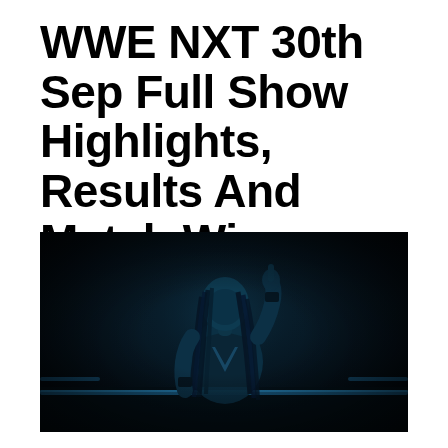WWE NXT 30th Sep Full Show Highlights, Results And Match Winners
[Figure (photo): A professional wrestler with long dreadlocks wearing a dark sleeveless top, standing in a dimly lit wrestling ring illuminated with dark blue/teal lighting, pointing one finger upward. Blue ring ropes are visible in the background.]